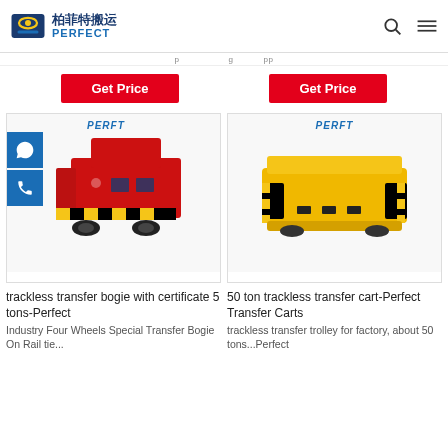PERFECT 柏菲特搬运
[Figure (photo): Red trackless transfer bogie with PERFT logo, with chat and phone buttons overlay on left side]
[Figure (photo): Yellow 50 ton trackless transfer cart with PERFT logo and black/yellow hazard stripes]
trackless transfer bogie with certificate 5 tons-Perfect
50 ton trackless transfer cart-Perfect Transfer Carts
Industry Four Wheels Special Transfer Bogie On Rail tie...
trackless transfer trolley for factory, about 50 tons...Perfect